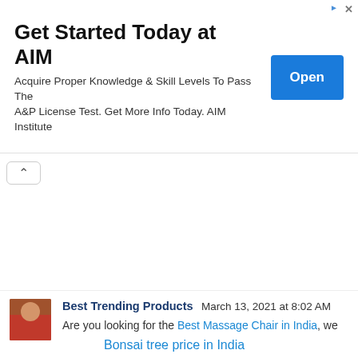[Figure (infographic): Advertisement banner for AIM Institute with title 'Get Started Today at AIM', body text about A&P License Test, and a blue 'Open' button. Ad icon and close X in top right.]
Bonsai tree price in India
Amazon upcoming sale
Best massage chair in india
Best shapewear in India
Dog bed in India
Best facial kit for Women
Best mattress brand in India
Best mattress under 30000
Best baby diapers in India
Best Air Purifier for Home
Best body massager machine
Reply
Best Trending Products  March 13, 2021 at 8:02 AM
Are you looking for the Best Massage Chair in India, we